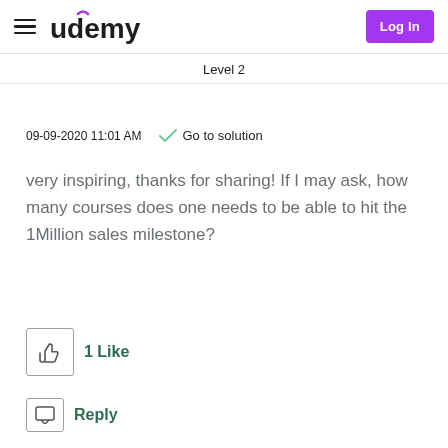udemy  Log In
Level 2
09-09-2020 11:01 AM   ✓ Go to solution
very inspiring, thanks for sharing! If I may ask, how many courses does one needs to be able to hit the 1Million sales milestone?
1 Like
Reply